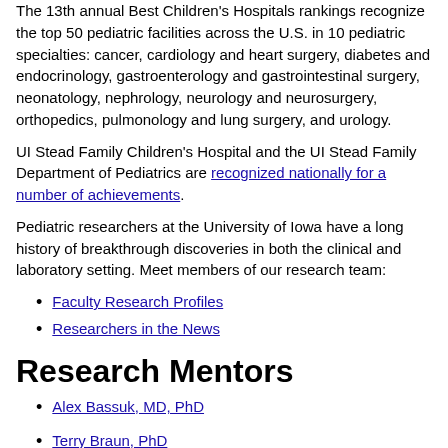The 13th annual Best Children's Hospitals rankings recognize the top 50 pediatric facilities across the U.S. in 10 pediatric specialties: cancer, cardiology and heart surgery, diabetes and endocrinology, gastroenterology and gastrointestinal surgery, neonatology, nephrology, neurology and neurosurgery, orthopedics, pulmonology and lung surgery, and urology.
UI Stead Family Children's Hospital and the UI Stead Family Department of Pediatrics are recognized nationally for a number of achievements.
Pediatric researchers at the University of Iowa have a long history of breakthrough discoveries in both the clinical and laboratory setting. Meet members of our research team:
Faculty Research Profiles
Researchers in the News
Research Mentors
Alex Bassuk, MD, PhD
Terry Braun, PhD
Benjamin Darbro, MD, PhD